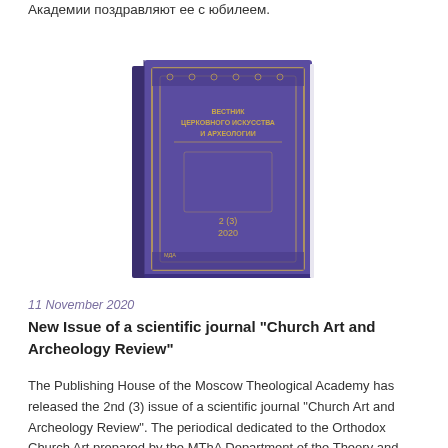Академии поздравляют ее с юбилеем.
[Figure (photo): Cover of the scientific journal 'Вестник церковного искусства и археологии' (Church Art and Archeology Review), issue 2(3) 2020, with a purple/violet cover and golden decorative border and text.]
11 November 2020
New Issue of a scientific journal "Church Art and Archeology Review"
The Publishing House of the Moscow Theological Academy has released the 2nd (3) issue of a scientific journal "Church Art and Archeology Review". The periodical dedicated to the Orthodox Church Art prepared by the MThA Department of the Theory and